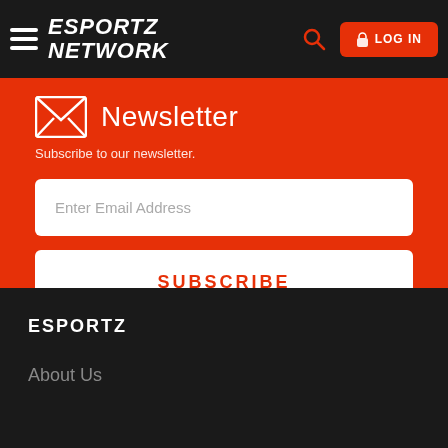ESPORTZ NETWORK — LOG IN
Newsletter
Subscribe to our newsletter.
Enter Email Address
SUBSCRIBE
ESPORTZ
About Us